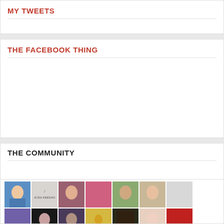My Tweets
THE FACEBOOK THING
THE COMMUNITY
[Figure (photo): Community member avatar grid with profile photos arranged in rows]